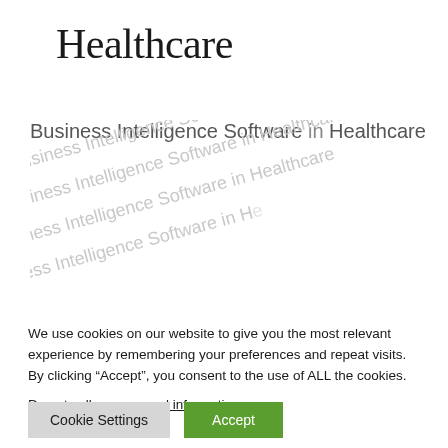Healthcare
[Figure (other): Repeated watermark text 'Business Intelligence Software in Healthcare' displayed at an angle across the page background, with one clear instance at the top and multiple faded diagonal repetitions below.]
We use cookies on our website to give you the most relevant experience by remembering your preferences and repeat visits. By clicking “Accept”, you consent to the use of ALL the cookies.
Do not sell my personal information.
Cookie Settings   Accept